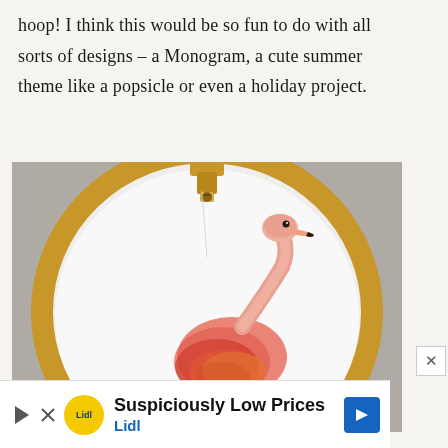hoop! I think this would be so fun to do with all sorts of designs – a Monogram, a cute summer theme like a popsicle or even a holiday project.
[Figure (photo): Photo of an embroidery hoop with a flamingo embroidered on white fabric, with a gold/wooden hoop frame visible. The hoop is on a gray surface.]
[Figure (screenshot): Advertisement banner for Lidl with text 'Suspiciously Low Prices' and 'Lidl' subtitle with blue arrow button and Lidl circular yellow logo.]